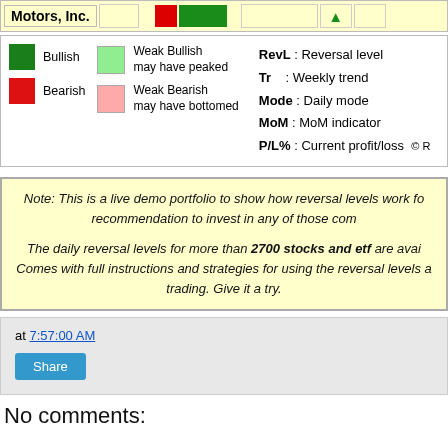| Motors, Inc. |  |  |  |  |  |  |
| --- | --- | --- | --- | --- | --- | --- |
|  |
[Figure (infographic): Legend box showing color codes: dark green = Bullish, light green = Weak Bullish may have peaked, red = Bearish, pink = Weak Bearish may have bottomed. Definitions: RevL = Reversal level, Tr = Weekly trend, Mode = Daily mode, MoM = MoM indicator, P/L% = Current profit/loss. Copyright R.]
Note: This is a live demo portfolio to show how reversal levels work fo... recommendation to invest in any of those com...

The daily reversal levels for more than 2700 stocks and etf are avai... Comes with full instructions and strategies for using the reversal levels a... trading. Give it a try.
at 7:57:00 AM
Share
No comments: